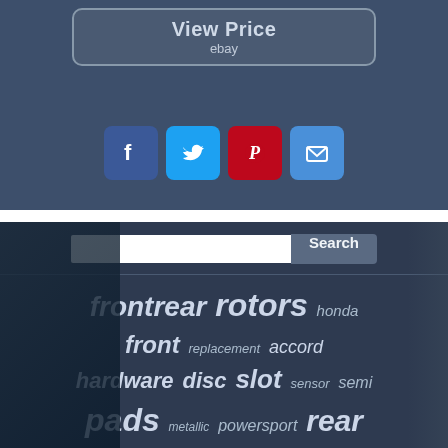[Figure (screenshot): View Price button with eBay branding on dark blue background]
[Figure (infographic): Social media share icons: Facebook (blue), Twitter (light blue), Pinterest (red), Email (blue)]
[Figure (infographic): Search bar with Search button]
[Figure (infographic): Tag cloud with brake/rotor related keywords: frontrear, rotors, honda, front, replacement, accord, hardware, disc, slot, sensor, semi, pads, metallic, powersport, rear, ceramic, chevy, padshardware, rotor]